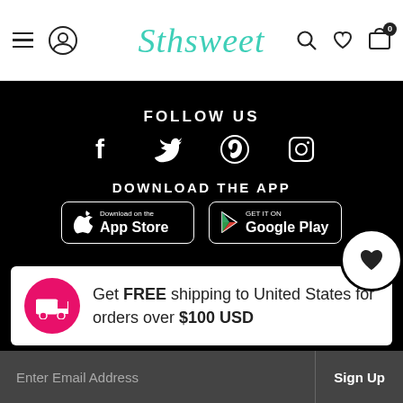Sthsweet — navigation header with menu, user, search, wishlist, cart icons
FOLLOW US
[Figure (other): Social media icons: Facebook, Twitter, Pinterest, Instagram]
DOWNLOAD THE APP
[Figure (other): App Store and Google Play download buttons]
Get FREE shipping to United States for orders over $100 USD
GET EXCLUSIVE DISCOUNTS & NEW ITEMS
Enter Email Address
Sign Up